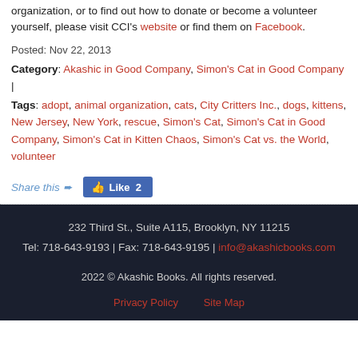organization, or to find out how to donate or become a volunteer yourself, please visit CCI's website or find them on Facebook.
Posted: Nov 22, 2013
Category: Akashic in Good Company, Simon's Cat in Good Company |
Tags: adopt, animal organization, cats, City Critters Inc., dogs, kittens, New Jersey, New York, rescue, Simon's Cat, Simon's Cat in Good Company, Simon's Cat in Kitten Chaos, Simon's Cat vs. the World, volunteer
Share this ➨  Like 2
232 Third St., Suite A115, Brooklyn, NY 11215
Tel: 718-643-9193 | Fax: 718-643-9195 | info@akashicbooks.com
2022 © Akashic Books. All rights reserved.
Privacy Policy   Site Map